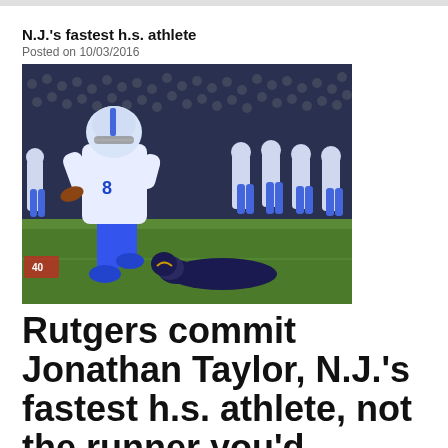N.J.'s fastest h.s. athlete
Posted on 10/03/2016
[Figure (photo): Football player in white and blue uniform running with the ball during a night game, evading a tackler on the ground, with teammates visible in the background]
Rutgers commit Jonathan Taylor, N.J.'s fastest h.s. athlete, not the runner you'd expect